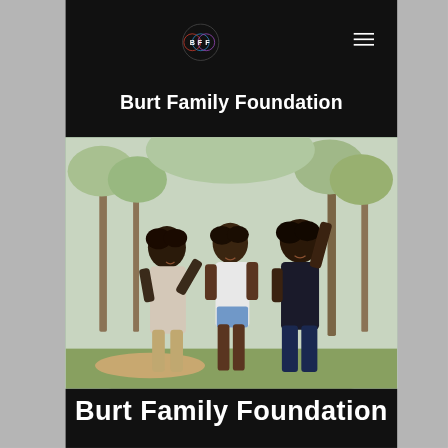Burt Family Foundation
[Figure (logo): BFF circular logo with letters B, F, F in colored circles on black background]
Burt Family Foundation
[Figure (photo): Three joyful Black children jumping and cheering with arms raised in a park with trees in background]
Burt Family Foundation